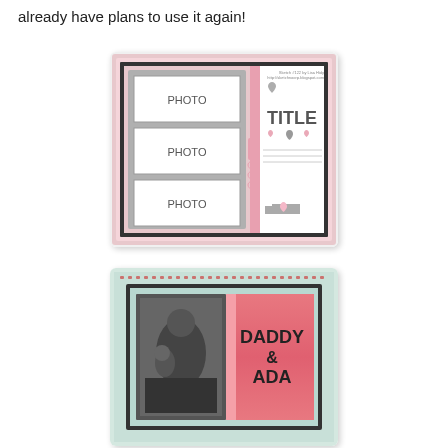already have plans to use it again!
[Figure (illustration): Scrapbook layout sketch with pink border, three photo placeholders labeled PHOTO stacked vertically on the left side against a gray background, and on the right side a TITLE heading with hearts, journaling lines, and decorative heart elements. Small text reads 'Sketch #122 by Lisa Hidy http://sketchnoorp.blogspot.com']
[Figure (photo): Scrapbook page photo with decorative heart/Mickey Mouse border, a black and white photo of a man holding a child on the left, and pink gradient background on the right with bold text reading 'DADDY & ADA']